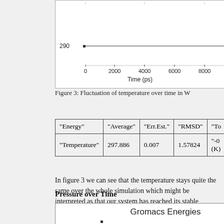[Figure (continuous-plot): Partial view of a line chart showing temperature fluctuation over time (ps). The y-axis shows value around 290, x-axis shows Time (ps) from 0 to 8000+.]
Figure 3: Fluctuation of temperature over time in W
| "Energy" | "Average" | "Err.Est." | "RMSD" | "To |
| --- | --- | --- | --- | --- |
| "Temperature" | 297.886 | 0.007 | 1.57824 | "-0 (K) |
In figure 3 we can see that the temperature stays quite the same over the whole simulation which might be interpreted as that our system has reached its stable temperature for simulation.
Pressure over Time
[Figure (continuous-plot): Partial view of a Gromacs Energies chart showing pressure over time, cut off at bottom of page.]